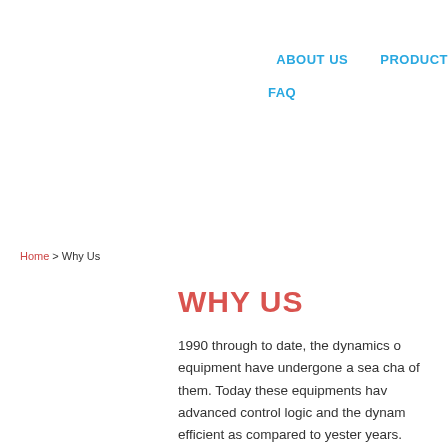ABOUT US   PRODUCT
FAQ
Home > Why Us
WHY US
1990 through to date, the dynamics of equipment have undergone a sea change of them. Today these equipments have advanced control logic and the dynamics efficient as compared to yester years.